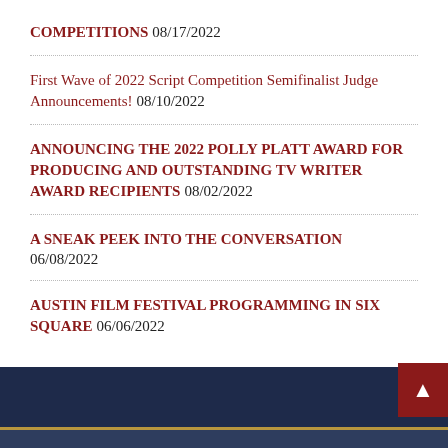COMPETITIONS 08/17/2022
First Wave of 2022 Script Competition Semifinalist Judge Announcements! 08/10/2022
ANNOUNCING THE 2022 POLLY PLATT AWARD FOR PRODUCING AND OUTSTANDING TV WRITER AWARD RECIPIENTS 08/02/2022
A SNEAK PEEK INTO THE CONVERSATION 06/08/2022
AUSTIN FILM FESTIVAL PROGRAMMING IN SIX SQUARE 06/06/2022